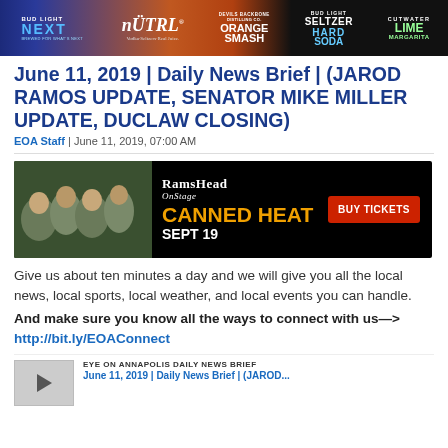[Figure (illustration): Banner advertisement showing Bud Light Next, NÜTRL, Devils Backbone Orange Smash, Bud Light Seltzer Hard Soda, and Cutwater Lime Margarita logos on a colorful background]
June 11, 2019 | Daily News Brief | (JAROD RAMOS UPDATE, SENATOR MIKE MILLER UPDATE, DUCLAW CLOSING)
EOA Staff | June 11, 2019, 07:00 AM
[Figure (illustration): Rams Head On Stage advertisement for Canned Heat concert on Sept 19, with Buy Tickets button and band photo]
Give us about ten minutes a day and we will give you all the local news, local sports, local weather, and local events you can handle.
And make sure you know all the ways to connect with us—> http://bit.ly/EOAConnect
EYE ON ANNAPOLIS DAILY NEWS BRIEF
June 11, 2019 | Daily News Brief | (JAROD...